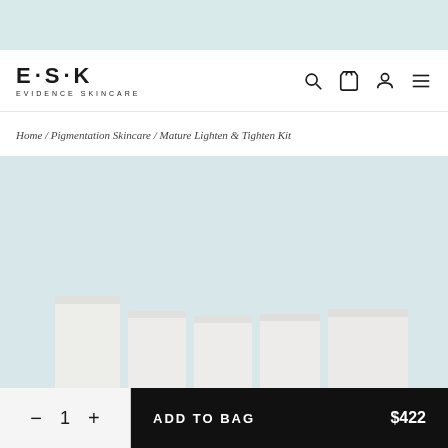[Figure (logo): ESK Evidence Skincare logo with dot-separated letters E·S·K and subtitle EVIDENCE SKINCARE]
[Figure (infographic): Navigation icons: search magnifying glass, shopping bag, user/account, hamburger menu]
Home / Pigmentation Skincare / Mature Lighten & Tighten Kit
[Figure (photo): ESK skincare product boxes arranged in a row, white/off-white packaging on light teal background]
1
ADD TO BAG
$422